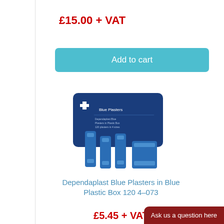£15.00 + VAT
Add to cart
[Figure (photo): Blue first aid plasters product photo: a blue plastic box with a white cross logo labeled 'Blue Plasters' surrounded by several blue adhesive plasters of different sizes standing upright]
Dependaplast Blue Plasters in Blue Plastic Box 120 4-073
£5.45 + VAT
Add to cart
Ask us a question here